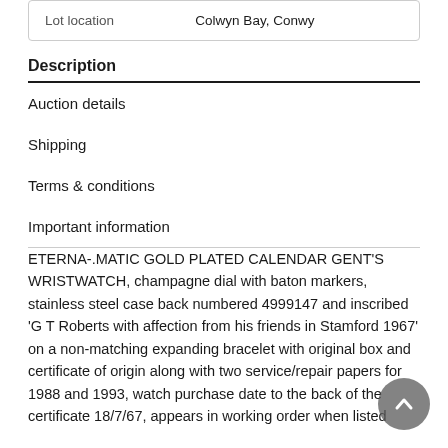| Lot location | Colwyn Bay, Conwy |
| --- | --- |
Description
Auction details
Shipping
Terms & conditions
Important information
ETERNA-.MATIC GOLD PLATED CALENDAR GENT'S WRISTWATCH, champagne dial with baton markers, stainless steel case back numbered 4999147 and inscribed 'G T Roberts with affection from his friends in Stamford 1967' on a non-matching expanding bracelet with original box and certificate of origin along with two service/repair papers for 1988 and 1993, watch purchase date to the back of the certificate 18/7/67, appears in working order when listed